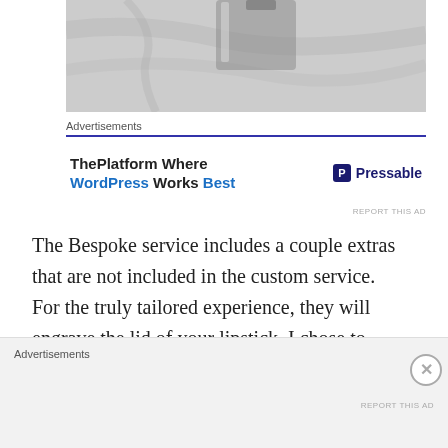[Figure (photo): Partial photo of a lipstick case on a marble-like surface, close-up, mostly cropped at top]
Advertisements
ThePlatform Where WordPress Works Best — Pressable (advertisement)
The Bespoke service includes a couple extras that are not included in the custom service. For the truly tailored experience, they will engrave the lid of your lipstick. I chose to name my lipsticks after my blog, so I got Midnight and Wink on the caps. You can also add your
Advertisements